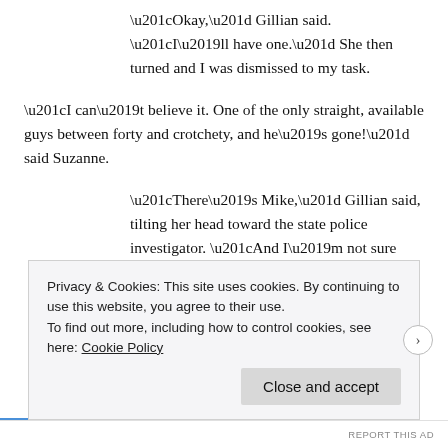“Okay,” Gillian said. “I’ll have one.” She then turned and I was dismissed to my task.
“I can’t believe it. One of the only straight, available guys between forty and crotchety, and he’s gone!” said Suzanne.
“There’s Mike,” Gillian said, tilting her head toward the state police investigator. “And I’m not sure Joseph was available.”
“First, really? Maybe if he worked out. Second, you or I crook our little fingers and get a guy away from Sophie.” They both looked back, shooting
Privacy & Cookies: This site uses cookies. By continuing to use this website, you agree to their use.
To find out more, including how to control cookies, see here: Cookie Policy
Close and accept